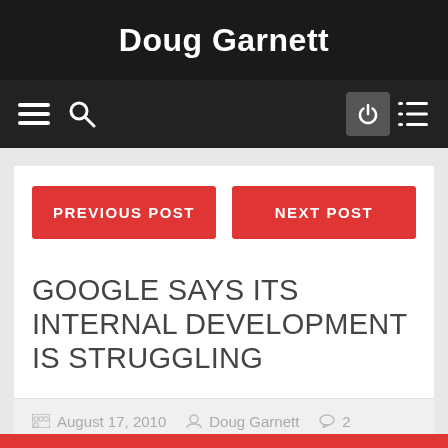Doug Garnett
[Figure (screenshot): Navigation bar with hamburger menu, search icon, power button, and list icon]
PREVIOUS POST
NEXT POST
GOOGLE SAYS ITS INTERNAL DEVELOPMENT IS STRUGGLING
August 17, 2010   Doug Garnett   2
[Figure (screenshot): Social sharing buttons: Facebook, Google+, Twitter, Email]